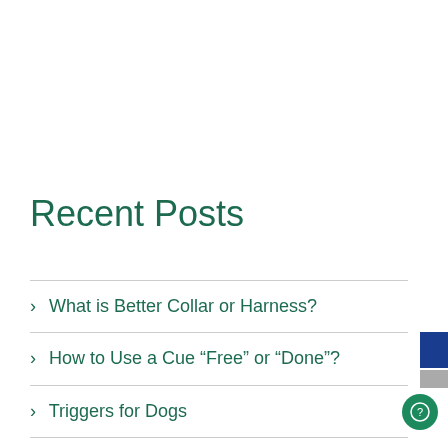Recent Posts
What is Better Collar or Harness?
How to Use a Cue “Free” or “Done”?
Triggers for Dogs
What to Do When Your Dog